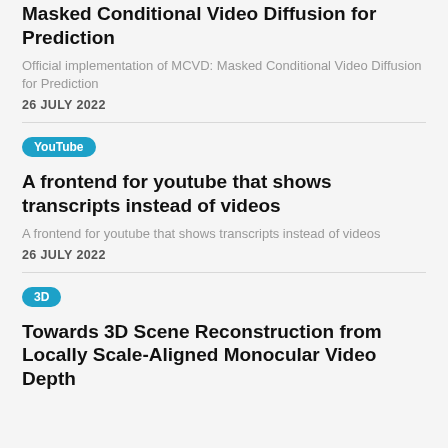Masked Conditional Video Diffusion for Prediction
Official implementation of MCVD: Masked Conditional Video Diffusion for Prediction
26 JULY 2022
YouTube
A frontend for youtube that shows transcripts instead of videos
A frontend for youtube that shows transcripts instead of videos
26 JULY 2022
3D
Towards 3D Scene Reconstruction from Locally Scale-Aligned Monocular Video Depth